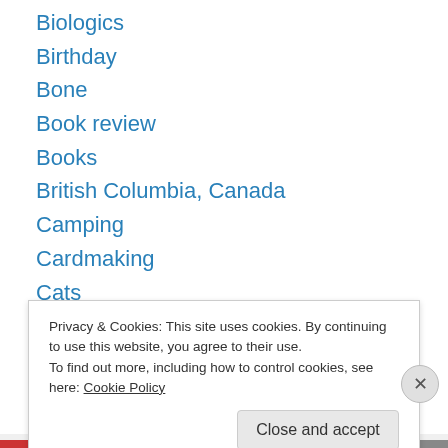Biologics
Birthday
Bone
Book review
Books
British Columbia, Canada
Camping
Cardmaking
Cats
Celebrations
Chocolate
Chriistmas
Chronic Disease
Privacy & Cookies: This site uses cookies. By continuing to use this website, you agree to their use. To find out more, including how to control cookies, see here: Cookie Policy
Close and accept